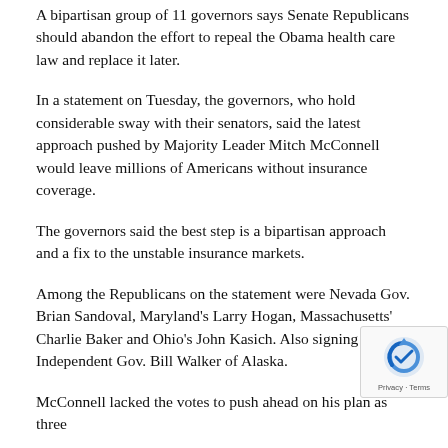A bipartisan group of 11 governors says Senate Republicans should abandon the effort to repeal the Obama health care law and replace it later.
In a statement on Tuesday, the governors, who hold considerable sway with their senators, said the latest approach pushed by Majority Leader Mitch McConnell would leave millions of Americans without insurance coverage.
The governors said the best step is a bipartisan approach and a fix to the unstable insurance markets.
Among the Republicans on the statement were Nevada Gov. Brian Sandoval, Maryland's Larry Hogan, Massachusetts' Charlie Baker and Ohio's John Kasich. Also signing on was Independent Gov. Bill Walker of Alaska.
McConnell lacked the votes to push ahead on his plan as three